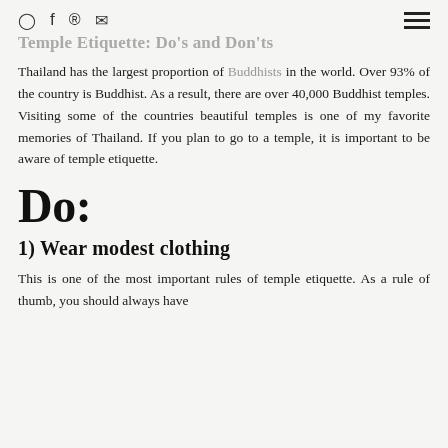[social icons] [hamburger menu]
Temple Etiquette: Do's and Don'ts
Thailand has the largest proportion of Buddhists in the world. Over 93% of the country is Buddhist. As a result, there are over 40,000 Buddhist temples. Visiting some of the countries beautiful temples is one of my favorite memories of Thailand. If you plan to go to a temple, it is important to be aware of temple etiquette.
Do:
1) Wear modest clothing
This is one of the most important rules of temple etiquette. As a rule of thumb, you should always have